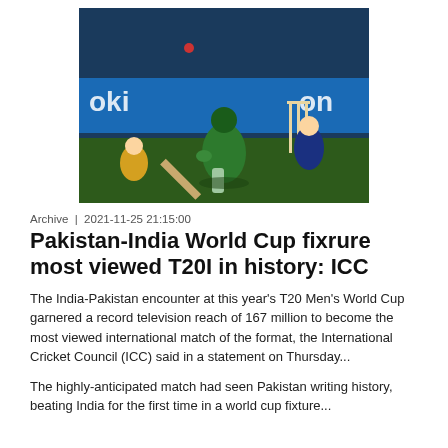[Figure (photo): Cricket match action shot: a Pakistan batsman in green kit playing a sweeping shot, with wicketkeeper and stumps visible in background, colorful advertisement boards behind]
Archive  |  2021-11-25 21:15:00
Pakistan-India World Cup fixrure most viewed T20I in history: ICC
The India-Pakistan encounter at this year's T20 Men's World Cup garnered a record television reach of 167 million to become the most viewed international match of the format, the International Cricket Council (ICC) said in a statement on Thursday...
The highly-anticipated match had seen Pakistan writing history, beating India for the first time in a world cup fixture...